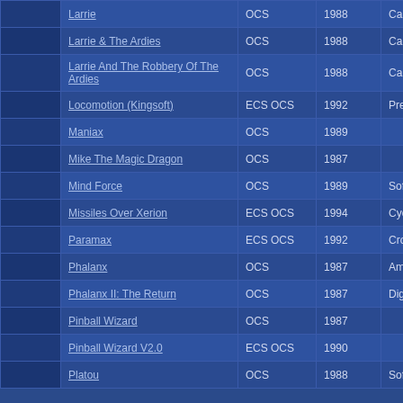|  | Name | Chipset | Year | Publisher |
| --- | --- | --- | --- | --- |
|  | Larrie | OCS | 1988 | Capital |
|  | Larrie & The Ardies | OCS | 1988 | Capital |
|  | Larrie And The Robbery Of The Ardies | OCS | 1988 | Capital |
|  | Locomotion (Kingsoft) | ECS OCS | 1992 | Prestige |
|  | Maniax | OCS | 1989 |  |
|  | Mike The Magic Dragon | OCS | 1987 |  |
|  | Mind Force | OCS | 1989 | SoftTouch / S |
|  | Missiles Over Xerion | ECS OCS | 1994 | Cycletech |
|  | Paramax | ECS OCS | 1992 | CrossTechnic |
|  | Phalanx | OCS | 1987 | Amiga Artist |
|  | Phalanx II: The Return | OCS | 1987 | Digital Dream |
|  | Pinball Wizard | OCS | 1987 |  |
|  | Pinball Wizard V2.0 | ECS OCS | 1990 |  |
|  | Platou | OCS | 1988 | SoftTouch / S |